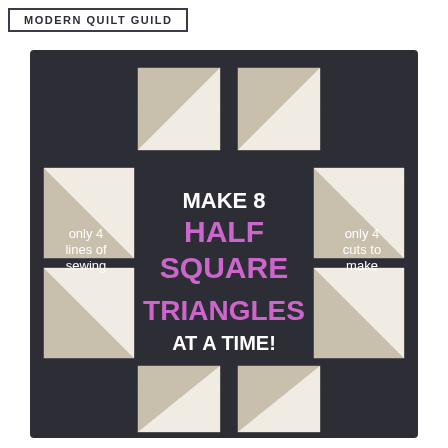MODERN QUILT GUILD
[Figure (photo): Dark wooden board displaying 8 half square triangle quilt blocks arranged in a grid pattern (3x3 grid with center text). Fabric triangles are beige/tan and white. Overlaid white text reads 'only 4 lines of sewing' on the left and 'only 4 cuts to make' on the right. Center text reads 'MAKE 8 HALF SQUARE TRIANGLES AT A TIME!' with 'HALF SQUARE TRIANGLES' in purple/magenta and rest in white.]